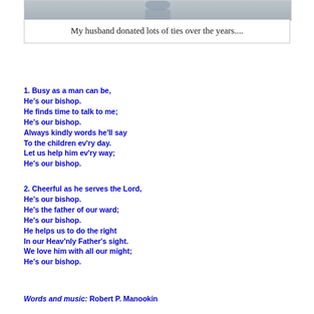[Figure (photo): Partial photo of a person, cropped at top of page]
My husband donated lots of ties over the years....
1. Busy as a man can be,
He's our bishop.
He finds time to talk to me;
He's our bishop.
Always kindly words he'll say
To the children ev'ry day.
Let us help him ev'ry way;
He's our bishop.
2. Cheerful as he serves the Lord,
He's our bishop.
He's the father of our ward;
He's our bishop.
He helps us to do the right
In our Heav'nly Father's sight.
We love him with all our might;
He's our bishop.
Words and music: Robert P. Manookin